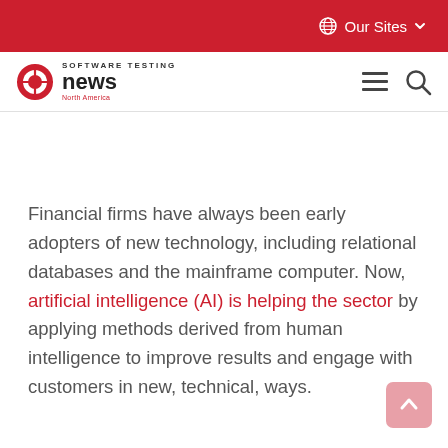Our Sites
[Figure (logo): Software Testing News North America logo with globe/crosshair icon]
Financial firms have always been early adopters of new technology, including relational databases and the mainframe computer. Now, artificial intelligence (AI) is helping the sector by applying methods derived from human intelligence to improve results and engage with customers in new, technical, ways.